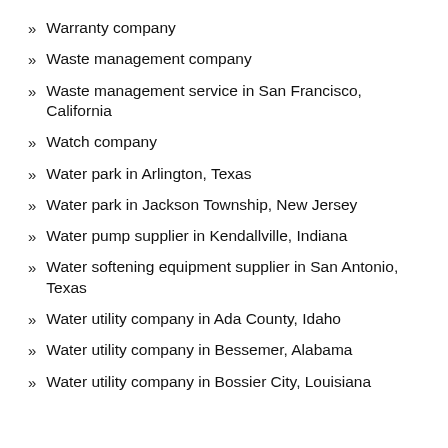Warranty company
Waste management company
Waste management service in San Francisco, California
Watch company
Water park in Arlington, Texas
Water park in Jackson Township, New Jersey
Water pump supplier in Kendallville, Indiana
Water softening equipment supplier in San Antonio, Texas
Water utility company in Ada County, Idaho
Water utility company in Bessemer, Alabama
Water utility company in Bossier City, Louisiana